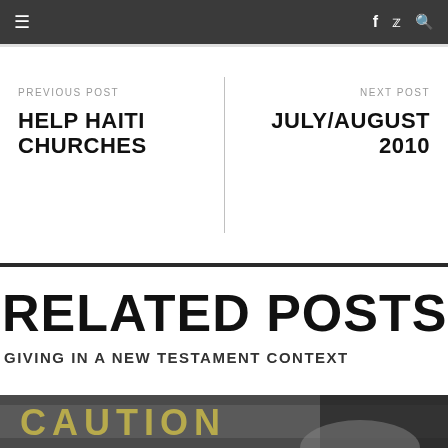≡  f  🐦  🔍
PREVIOUS POST
HELP HAITI CHURCHES
NEXT POST
JULY/AUGUST 2010
RELATED POSTS
GIVING IN A NEW TESTAMENT CONTEXT
[Figure (photo): Caution tape sign, partially visible, blurred foreground]